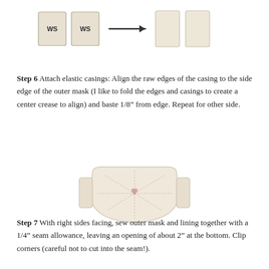[Figure (illustration): Two fabric rectangles labeled 'WS' side by side, followed by an arrow pointing right, then two plain fabric rectangles shown opened/unfolded.]
Step 6 Attach elastic casings: Align the raw edges of the casing to the side edge of the outer mask (I like to fold the edges and casings to create a center crease to align) and baste 1/8" from edge. Repeat for other side.
[Figure (illustration): A face mask viewed from the front, cream/off-white colored with stitching lines radiating from a small heart in the center, and elastic casings visible on the sides.]
Step 7 With right sides facing, sew outer mask and lining together with a 1/4" seam allowance, leaving an opening of about 2" at the bottom. Clip corners (careful not to cut into the seam!).